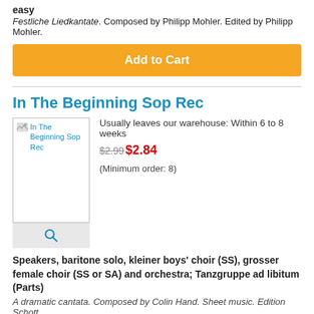easy
Festliche Liedkantate. Composed by Philipp Mohler. Edited by Philipp Mohler.
Add to Cart
In The Beginning Sop Rec
[Figure (photo): Product image placeholder for 'In The Beginning Sop Rec' with a magnify icon below]
Usually leaves our warehouse: Within 6 to 8 weeks
$2.99$2.84
(Minimum order: 8)
Speakers, baritone solo, kleiner boys' choir (SS), grosser female choir (SS or SA) and orchestra; Tanzgruppe ad libitum (Parts)
A dramatic cantata. Composed by Colin Hand. Sheet music. Edition Schott.
Add to Cart